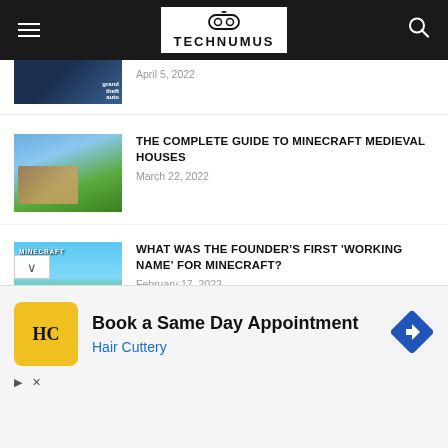TECHNUMUS
[Figure (screenshot): GTA thumbnail image partially visible]
April 5, 2022
[Figure (screenshot): Minecraft medieval house image]
THE COMPLETE GUIDE TO MINECRAFT MEDIEVAL HOUSES
March 22, 2022
[Figure (screenshot): Minecraft logo scene image]
WHAT WAS THE FOUNDER'S FIRST 'WORKING NAME' FOR MINECRAFT?
February 17, 2022
[Figure (screenshot): Roblox game image]
THE ULTIMATE GUIDE TO RBLXFITCHECK.COM
[Figure (infographic): Hair Cuttery advertisement: Book a Same Day Appointment]